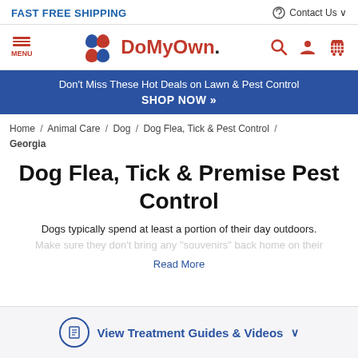FAST FREE SHIPPING | Contact Us
[Figure (logo): DoMyOwn logo with leaf/paw icon]
[Figure (infographic): Blue promotional banner: Don't Miss These Hot Deals on Lawn & Pest Control - SHOP NOW »]
Home / Animal Care / Dog / Dog Flea, Tick & Pest Control / Georgia
Dog Flea, Tick & Premise Pest Control
Dogs typically spend at least a portion of their day outdoors. Make sure they don't bring any "souvenirs" back home on their
Read More
View Treatment Guides & Videos